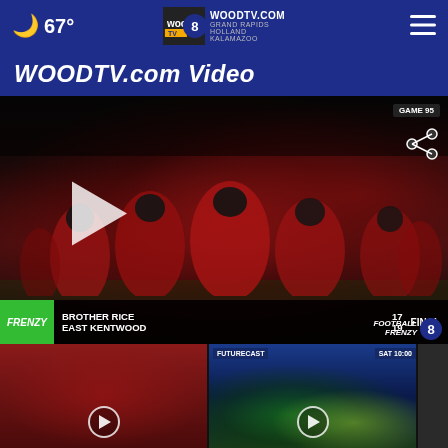67° WOODTV.COM GRAND RAPIDS HOLLAND KALAMAZOO
WOODTV.com Video
[Figure (screenshot): Football video thumbnail showing football players in red uniforms celebrating on field at night. Score overlay at bottom: FRENZY | BROTHER RICE 17 / EAST KENTWOOD 19 | FINAL. Football Frenzy 8 logo bottom right. Share and GAME 95 icons top right. Play button visible.]
[Figure (screenshot): Smaller thumbnail showing football players in red uniforms]
[Figure (screenshot): FUTURECAST weather map thumbnail with SAT 10:00 label]
[Figure (screenshot): Partially visible third thumbnail]